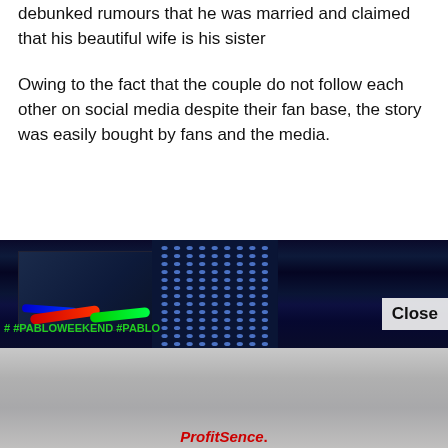debunked rumours that he was married and claimed that his beautiful wife is his sister
Owing to the fact that the couple do not follow each other on social media despite their fan base, the story was easily bought by fans and the media.
[Figure (photo): A nightclub scene with LED dot panels, stage lighting, laser beams (red, green, blue), and a 'Close' button overlay. Lower portion shows people in a dimly lit venue. A 'ProfitSence.' watermark appears at the bottom.]